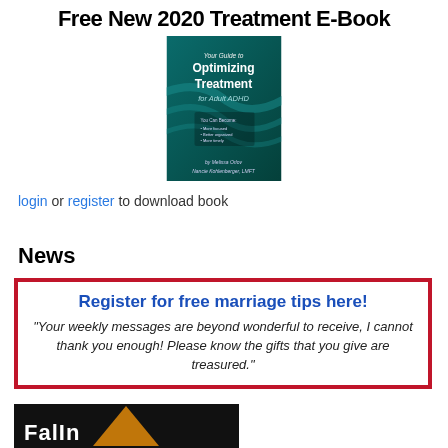Free New 2020 Treatment E-Book
[Figure (illustration): Book cover: 'Your Guide to Optimizing Treatment for Adult ADHD' by Melissa Orlov and Nancie Kohlenberger, LMFT. Teal/dark green background with abstract wave design.]
login or register to download book
News
Register for free marriage tips here! "Your weekly messages are beyond wonderful to receive, I cannot thank you enough! Please know the gifts that you give are treasured."
[Figure (photo): Partial image at bottom showing 'FalIn' text in white on dark background with an orange/gold triangle shape.]